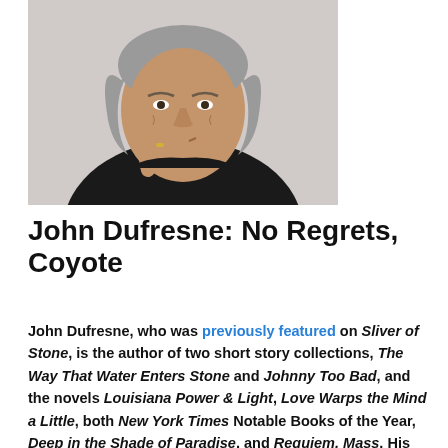[Figure (photo): Black and white photo of a man with gray shoulder-length hair wearing a black shirt, hand raised to chin in thoughtful pose, ring on finger]
John Dufresne: No Regrets, Coyote
John Dufresne, who was previously featured on Sliver of Stone, is the author of two short story collections, The Way That Water Enters Stone and Johnny Too Bad, and the novels Louisiana Power & Light, Love Warps the Mind a Little, both New York Times Notable Books of the Year, Deep in the Shade of Paradise, and Requiem, Mass. His books on writing, The Lie That Tells a Truth and Is Life